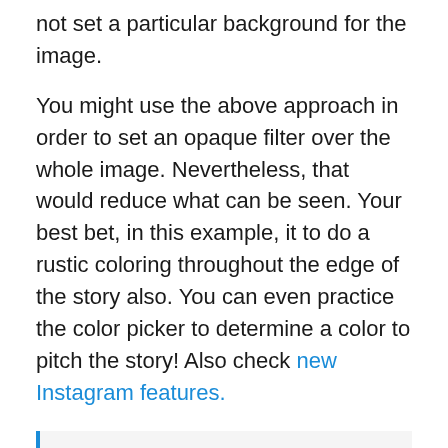not set a particular background for the image.
You might use the above approach in order to set an opaque filter over the whole image. Nevertheless, that would reduce what can be seen. Your best bet, in this example, it to do a rustic coloring throughout the edge of the story also. You can even practice the color picker to determine a color to pitch the story! Also check new Instagram features.
See also  Is It Worth Working With A Marketing Agency?
Press the ‘Draw’ button in the top panel, and choose the ‘Effects’ tool. Choose a color you wish to set as the background for the story. If you wish to select a color